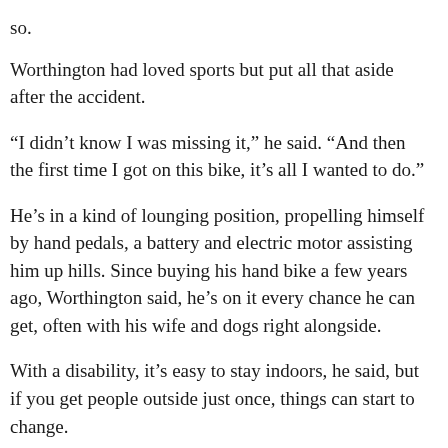so.
Worthington had loved sports but put all that aside after the accident.
“I didn’t know I was missing it,” he said. “And then the first time I got on this bike, it’s all I wanted to do.”
He’s in a kind of lounging position, propelling himself by hand pedals, a battery and electric motor assisting him up hills. Since buying his hand bike a few years ago, Worthington said, he’s on it every chance he can get, often with his wife and dogs right alongside.
With a disability, it’s easy to stay indoors, he said, but if you get people outside just once, things can start to change.